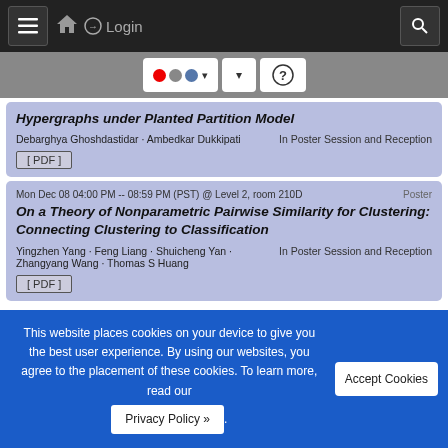≡ 🏠 Login 🔍
[Figure (screenshot): Toolbar with Flickr-style colored dots (red, gray, blue), dropdown arrows, and a help button]
Hypergraphs under Planted Partition Model
Debarghya Ghoshdastidar · Ambedkar Dukkipati   In Poster Session and Reception
[ PDF ]
Mon Dec 08 04:00 PM -- 08:59 PM (PST) @ Level 2, room 210D   Poster
On a Theory of Nonparametric Pairwise Similarity for Clustering: Connecting Clustering to Classification
Yingzhen Yang · Feng Liang · Shuicheng Yan · Zhangyang Wang · Thomas S Huang   In Poster Session and Reception
[ PDF ]
This website places cookies on your device to give you the best user experience. By using our websites, you agree to the placement of these cookies. To learn more, read our Privacy Policy ».